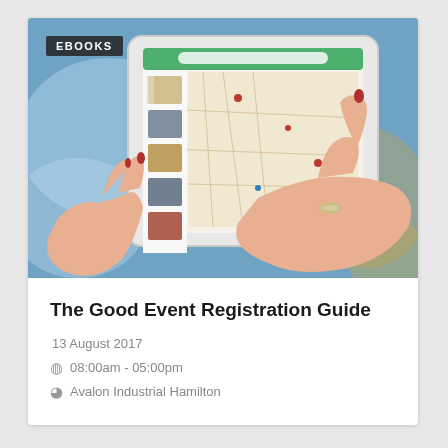[Figure (photo): Hands holding a tablet displaying a map application with restaurant listings, with 'EBOOKS' badge overlay in top-left corner. Background shows blurred blue and gold tones.]
The Good Event Registration Guide
13 August 2017
08:00am - 05:00pm
Avalon Industrial Hamilton